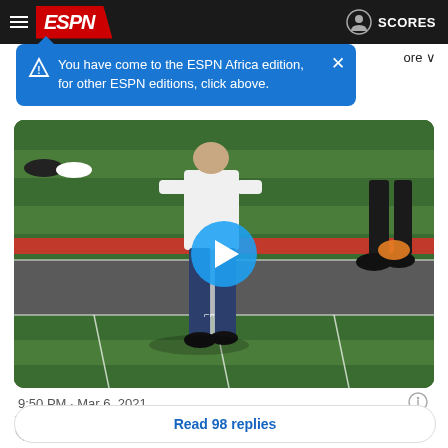ESPN
You have come to the ESPN Africa edition, for other ESPN editions, click above.
[Figure (screenshot): Video player showing a person in white shirt and dark sweatpants walking on a football field with a play button overlay]
9:50 PM · Mar 6, 2021
15K  Reply  Copy link
Read 98 replies